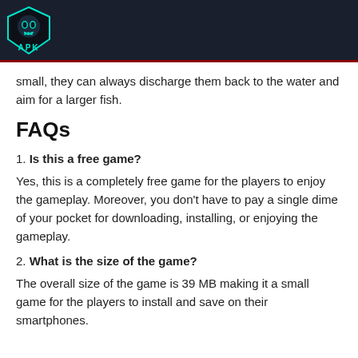APK [logo]
small, they can always discharge them back to the water and aim for a larger fish.
FAQs
1. Is this a free game?
Yes, this is a completely free game for the players to enjoy the gameplay. Moreover, you don't have to pay a single dime of your pocket for downloading, installing, or enjoying the gameplay.
2. What is the size of the game?
The overall size of the game is 39 MB making it a small game for the players to install and save on their smartphones.